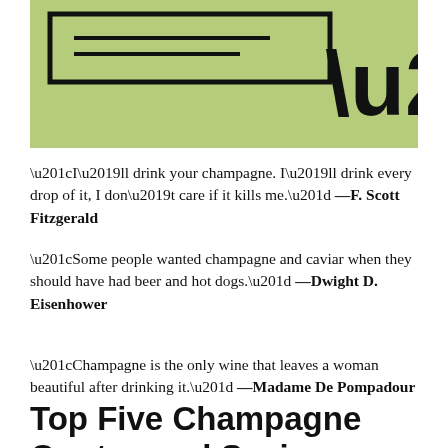[Figure (illustration): Green background graphic with a large quotation box outline and oversized closing quotation marks in the lower right corner.]
“I’ll drink your champagne. I’ll drink every drop of it, I don’t care if it kills me.” —F. Scott Fitzgerald
“Some people wanted champagne and caviar when they should have had beer and hot dogs.” —Dwight D. Eisenhower
“Champagne is the only wine that leaves a woman beautiful after drinking it.” —Madame De Pompadour
Top Five Champagne Quotes and Sayings